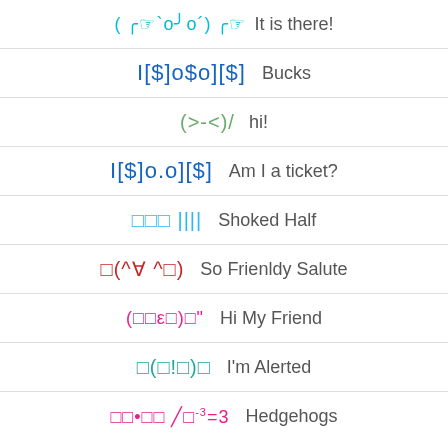( ╭☞`o╯o´) ╭☞  It is there!
I[$]o$o][$]  Bucks
(>-<)/  hi!
I[$]o.o][$]  Am I a ticket?
□□□ ||||  Shoked Half
□(^∀ ^□)  So Frienldy Salute
(□□ε□)□"  Hi My Friend
□(□!□)□  I'm Alerted
□□•□□ ╱□⁻³=3  Hedgehogs